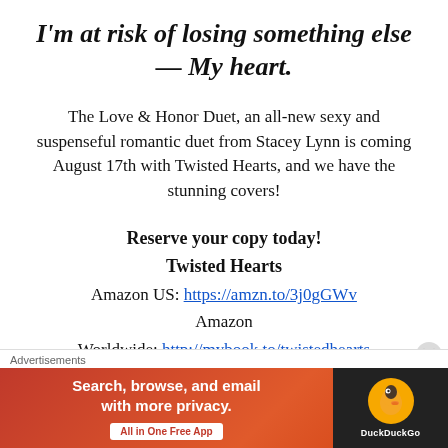I'm at risk of losing something else — My heart.
The Love & Honor Duet, an all-new sexy and suspenseful romantic duet from Stacey Lynn is coming August 17th with Twisted Hearts, and we have the stunning covers!
Reserve your copy today!
Twisted Hearts
Amazon US: https://amzn.to/3j0gGWv
Amazon
Worldwide: http://mybook.to/twistedhearts
Advertisements
[Figure (infographic): DuckDuckGo advertisement banner: orange-red background with text 'Search, browse, and email with more privacy. All in One Free App' and DuckDuckGo logo on dark right panel.]